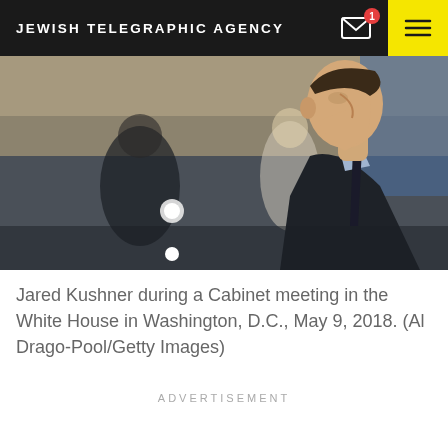JEWISH TELEGRAPHIC AGENCY
[Figure (photo): Jared Kushner in profile during a Cabinet meeting in the White House, Washington D.C., May 9, 2018. Photo by Al Drago-Pool/Getty Images.]
Jared Kushner during a Cabinet meeting in the White House in Washington, D.C., May 9, 2018. (Al Drago-Pool/Getty Images)
ADVERTISEMENT